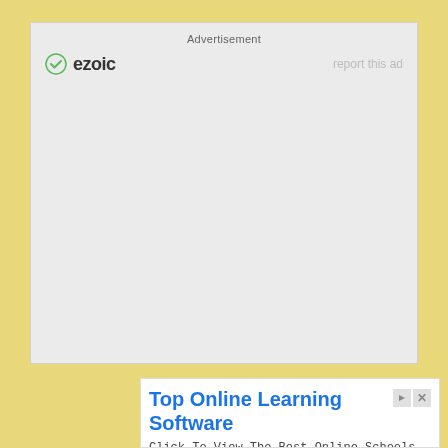[Figure (other): Ezoic advertisement placeholder box with 'Advertisement' label, ezoic logo with green checkmark icon, and 'report this ad' link. Large grey empty ad space below.]
[Figure (other): Bottom advertisement banner: 'Top Online Learning Software' title in blue, body text 'Click To View The Best Online Schools And Diploma Courses In USA. Click To Know More', URL 'shopaholicstreet.com', and blue 'Open' button. Has close and skip controls in top right.]